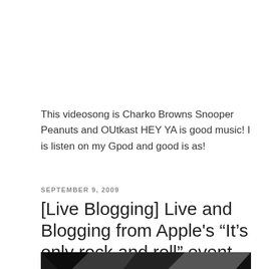This videosong is Charko Browns Snooper Peanuts and OUtkast HEY YA is good music! I is listen on my Gpod and good is as!
SEPTEMBER 9, 2009
[Live Blogging] Live and Blogging from Apple's “It’s only rock and roll” event
[Figure (photo): Dark geometric low-poly abstract image with triangular shapes in dark grey and black tones]